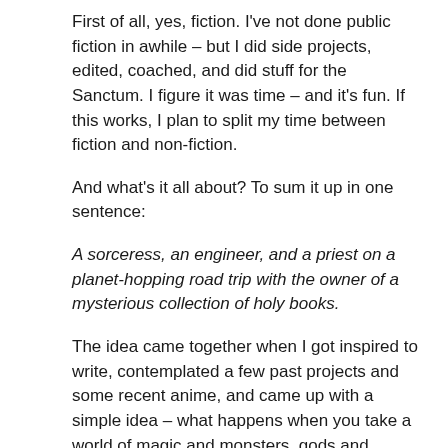First of all, yes, fiction.  I've not done public fiction in awhile – but I did side projects, edited, coached, and did stuff for the Sanctum.  I figure it was time – and it's fun.  If this works, I plan to split my time between fiction and non-fiction.
And what's it all about?  To sum it up in one sentence:
A sorceress, an engineer, and a priest on a planet-hopping road trip with the owner of a mysterious collection of holy books.
The idea came together when I got inspired to write, contemplated a few past projects and some recent anime, and came up with a simple idea – what happens when you take a world of magic and monsters, gods and spirits, and technology evolves as well?  Welcome to the world of Telvaren and it's planetary colonies, a nation of science and sorcery, where the gods use the internet and interplanetary travel is done via techno-wizardry.  Politics is driven by a mixture of gigantic cities, assorted guilds and unions, and divine interests – but don't let the present distract